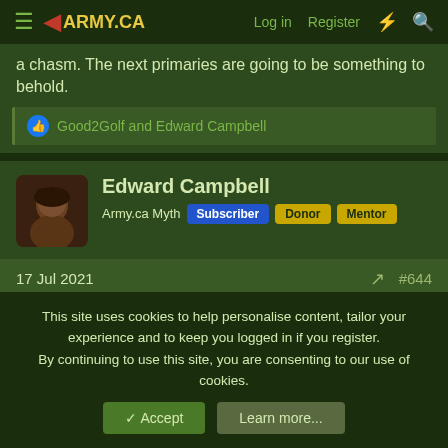ARMY.CA | Log in | Register
a chasm. The next primaries are going to be something to behold.
Good2Golf and Edward Campbell
Edward Campbell
Army.ca Myth  Subscriber  Donor  Mentor
17 Jul 2021  #644
brihard said:  And "establishment" vs Trump loyalists. Liz Cheney's situation is a useful microcosm to see some of the dynamic there. Pence is also getting dragged into it kicking in scream as a result of some of the
This site uses cookies to help personalise content, tailor your experience and to keep you logged in if you register.
By continuing to use this site, you are consenting to our use of cookies.
Accept  Learn more...